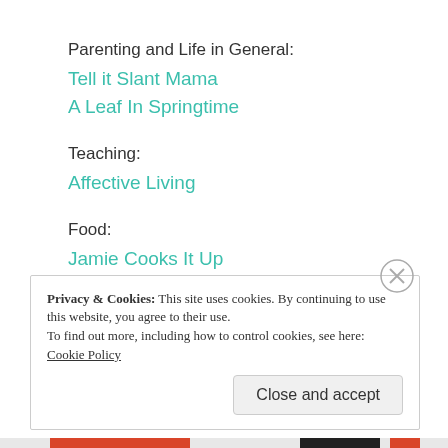Parenting and Life in General:
Tell it Slant Mama
A Leaf In Springtime
Teaching:
Affective Living
Food:
Jamie Cooks It Up
100 Days of Real Food
Privacy & Cookies: This site uses cookies. By continuing to use this website, you agree to their use. To find out more, including how to control cookies, see here: Cookie Policy
Close and accept